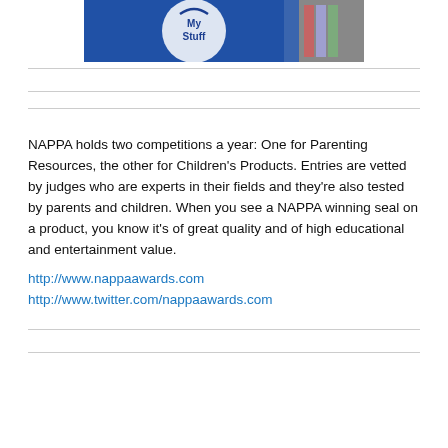[Figure (photo): Photo of a blue MyStuff bag with children in the background]
NAPPA holds two competitions a year: One for Parenting Resources, the other for Children's Products. Entries are vetted by judges who are experts in their fields and they're also tested by parents and children. When you see a NAPPA winning seal on a product, you know it's of great quality and of high educational and entertainment value.
http://www.nappaawards.com
http://www.twitter.com/nappaawards.com